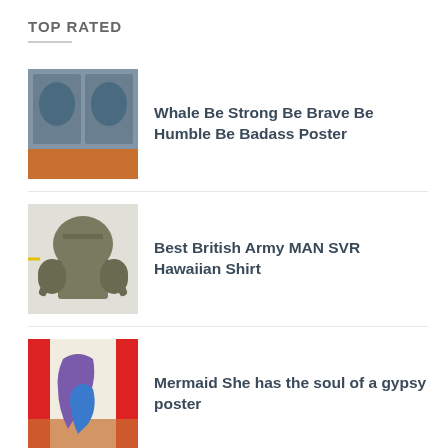TOP RATED
Whale Be Strong Be Brave Be Humble Be Badass Poster
Best British Army MAN SVR Hawaiian Shirt
Mermaid She has the soul of a gypsy poster
ABOUT US
At Hothotshirt, we're concerning over shirts. We're